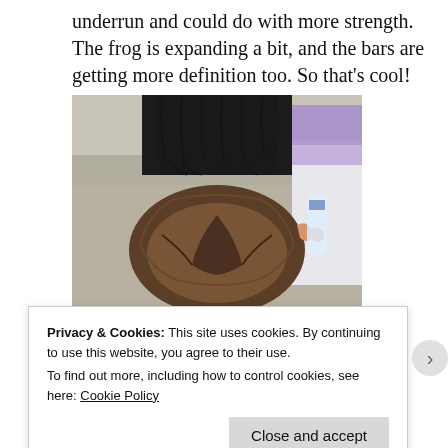underrun and could do with more strength. The frog is expanding a bit, and the bars are getting more definition too. So that’s cool!
[Figure (photo): Close-up photo of a horse's hoof viewed from below, showing the underside/sole of a dark horse's foot. A person's hand with purple clothing is partially visible to the right.]
Privacy & Cookies: This site uses cookies. By continuing to use this website, you agree to their use.
To find out more, including how to control cookies, see here: Cookie Policy
Close and accept